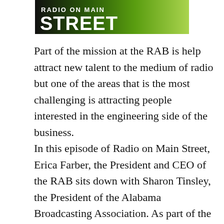[Figure (logo): Radio on Main Street logo banner with green gradient background and white bold text reading 'STREET']
Part of the mission at the RAB is help attract new talent to the medium of radio but one of the areas that is the most challenging is attracting people interested in the engineering side of the business.
In this episode of Radio on Main Street, Erica Farber, the President and CEO of the RAB sits down with Sharon Tinsley, the President of the Alabama Broadcasting Association. As part of the ABA, they have an engineering Academy that provides technical classes from basic radio and television engineering to advanced radio broadcasting engineering. These programs are